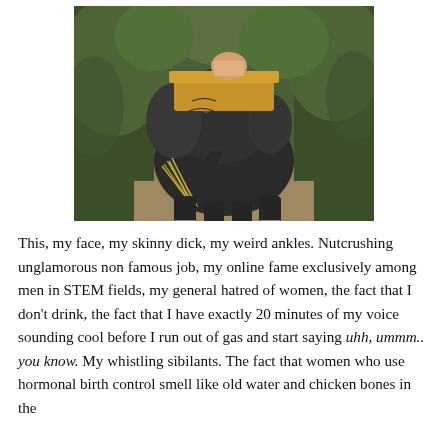[Figure (photo): An elephant carrying a wooden seat/howdah on its back, walking through green jungle vegetation. A person is partially visible on top. The elephant is facing forward with its trunk curled, holding grass.]
This, my face, my skinny dick, my weird ankles. Nutcrushing unglamorous non famous job, my online fame exclusively among men in STEM fields, my general hatred of women, the fact that I don't drink, the fact that I have exactly 20 minutes of my voice sounding cool before I run out of gas and start saying uhh, ummm.. you know. My whistling sibilants. The fact that women who use hormonal birth control smell like old water and chicken bones in the